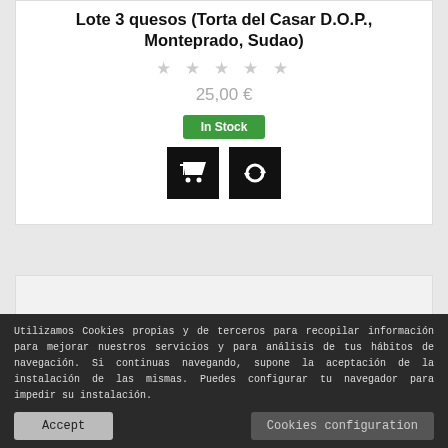Lote 3 quesos (Torta del Casar D.O.P., Monteprado, Sudao)
★ ★ ★ ★ ★
25,00 €
In Stock
[Figure (other): Add to cart button (black square with cart icon) and refresh/compare button (black square with refresh icon)]
[Figure (photo): Product image area showing cheese product, partially visible at bottom of page]
Utilizamos Cookies propias y de terceros para recopilar información para mejorar nuestros servicios y para análisis de tus hábitos de navegación. Si continuas navegando, supone la aceptación de la instalación de las mismas. Puedes configurar tu navegador para impedir su instalación.
Accept
Cookies configuration